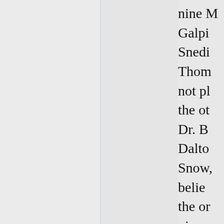nine M Galpi Snedi Thom not pl the ot Dr. B Dalto Snow, belie the or nine p prese thoug notice on the ons o